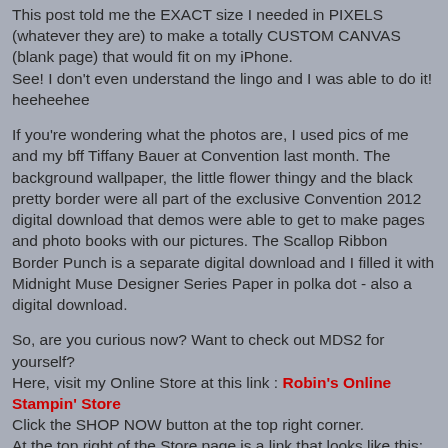This post told me the EXACT size I needed in PIXELS (whatever they are) to make a totally CUSTOM CANVAS (blank page) that would fit on my iPhone. See! I don't even understand the lingo and I was able to do it! heeheehee
If you're wondering what the photos are, I used pics of me and my bff Tiffany Bauer at Convention last month. The background wallpaper, the little flower thingy and the black pretty border were all part of the exclusive Convention 2012 digital download that demos were able to get to make pages and photo books with our pictures. The Scallop Ribbon Border Punch is a separate digital download and I filled it with Midnight Muse Designer Series Paper in polka dot - also a digital download.
So, are you curious now? Want to check out MDS2 for yourself?
Here, visit my Online Store at this link : Robin's Online Stampin' Store
Click the SHOP NOW button at the top right corner.
At the top right of the Store page is a link that looks like this: